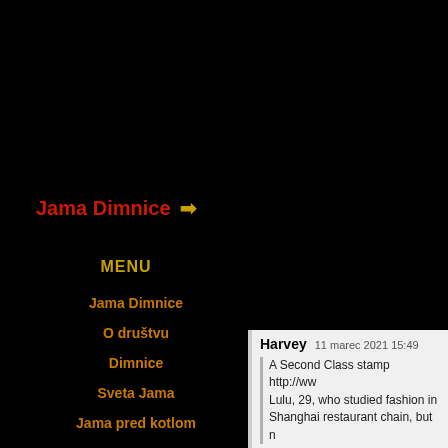Jama Dimnice →
MENU
Jama Dimnice
O društvu
Dimnice
Sveta Jama
Jama pred kotlom
Harvey   11 marec 2021 15:49
A Second Class stamp http://www... Lulu, 29, who studied fashion in... Shanghai restaurant chain, but n...